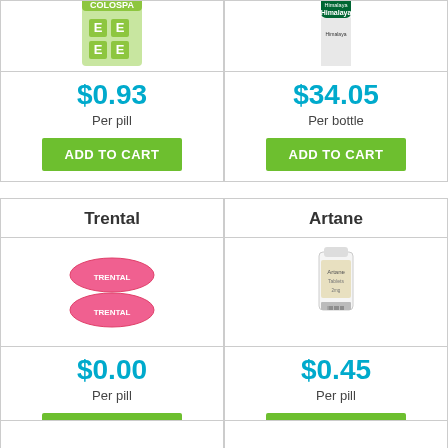[Figure (photo): Colospa pill box (green, partial view at top)]
[Figure (photo): Himalaya herbal supplement bottle (partial view at top)]
$0.93
Per pill
ADD TO CART
$34.05
Per bottle
ADD TO CART
Trental
Artane
[Figure (photo): Two pink oval Trental pills]
[Figure (photo): White bottle of Artane tablets]
$0.00
Per pill
ADD TO CART
$0.45
Per pill
ADD TO CART